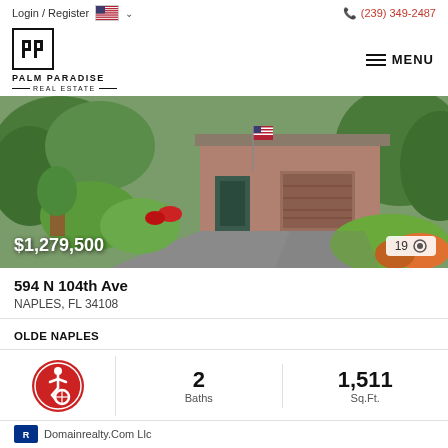Login / Register  (239) 349-2487
[Figure (logo): Palm Paradise Real Estate logo with PP monogram in a square border]
[Figure (photo): Exterior photo of a home at 594 N 104th Ave with green landscaping, concrete driveway, and attached garage. Price overlay $1,279,500 and photo count 19.]
594 N 104th Ave
NAPLES, FL 34108
OLDE NAPLES
2 Baths
1,511 Sq.Ft.
Domainrealty.Com Llc